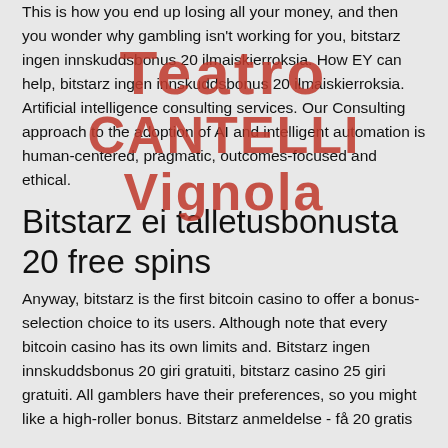This is how you end up losing all your money, and then you wonder why gambling isn't working for you, bitstarz ingen innskuddsbonus 20 ilmaiskierroksia. How EY can help, bitstarz ingen innskuddsbonus 20 ilmaiskierroksia. Artificial intelligence consulting services. Our Consulting approach to the adoption of AI and intelligent automation is human-centered, pragmatic, outcomes-focused and ethical.
[Figure (illustration): Watermark overlay text reading 'Teatro / CANTELLI / Vignola' in bold red-orange letters]
Bitstarz ei talletusbonusta 20 free spins
Anyway, bitstarz is the first bitcoin casino to offer a bonus-selection choice to its users. Although note that every bitcoin casino has its own limits and. Bitstarz ingen innskuddsbonus 20 giri gratuiti, bitstarz casino 25 giri gratuiti. All gamblers have their preferences, so you might like a high-roller bonus. Bitstarz anmeldelse - få 20 gratis